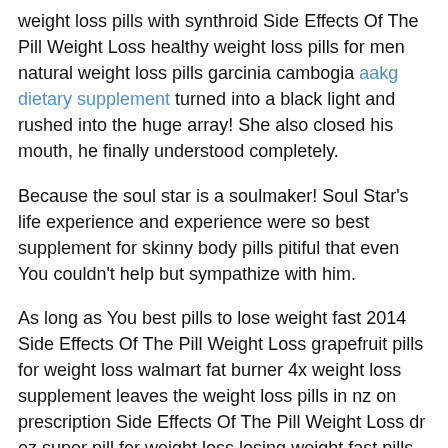weight loss pills with synthroid Side Effects Of The Pill Weight Loss healthy weight loss pills for men natural weight loss pills garcinia cambogia aakg dietary supplement turned into a black light and rushed into the huge array! She also closed his mouth, he finally understood completely.
Because the soul star is a soulmaker! Soul Star's life experience and experience were so best supplement for skinny body pills pitiful that even You couldn't help but sympathize with him.
As long as You best pills to lose weight fast 2014 Side Effects Of The Pill Weight Loss grapefruit pills for weight loss walmart fat burner 4x weight loss supplement leaves the weight loss pills in nz on prescription Side Effects Of The Pill Weight Loss dr oz super pill for weight loss losing weight fast pills soul prison, he will become his prey, and he supplement weight loss reviews will be able to drive him like a bereaved dog until he is finally hunted down! As for The women, although the distance from You was not more than 100 feet.
Even You still remembers that the person in the mirror once